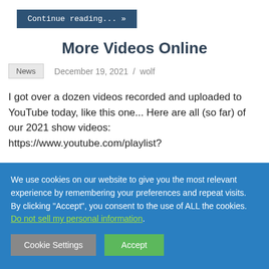Continue reading... »
More Videos Online
News   December 19, 2021 / wolf
I got over a dozen videos recorded and uploaded to YouTube today, like this one... Here are all (so far) of our 2021 show videos: https://www.youtube.com/playlist?
We use cookies on our website to give you the most relevant experience by remembering your preferences and repeat visits. By clicking "Accept", you consent to the use of ALL the cookies. Do not sell my personal information.
Cookie Settings
Accept